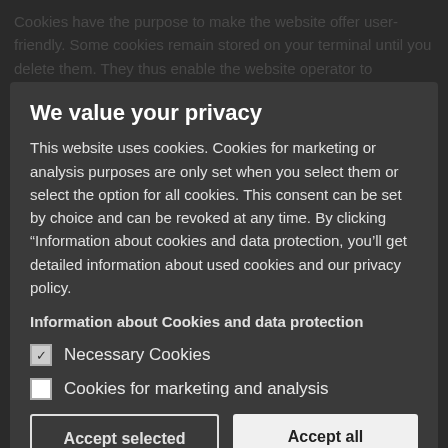Cookies have the purpose to make the website offer user-friendly. Some cookies remain stored on your terminal until you delete them. They thus enable the website operator to recognize your browser the next time you visit. If you do not Wish...
We value your privacy
This website uses cookies. Cookies for marketing or analysis purposes are only set when you select them or select the option for all cookies. This consent can be set by choice and can be revoked at any time. By clicking “Information about cookies and data protection, you’ll get detailed information about used cookies and our privacy policy.
This website uses functions of the web analysis service...
Information about Cookies and data protection
Amphitheatre Parkway, Mountain View, CA 94043, USA. We...
Necessary Cookies
Cookies for marketing and analysis
Accept selected
Accept all